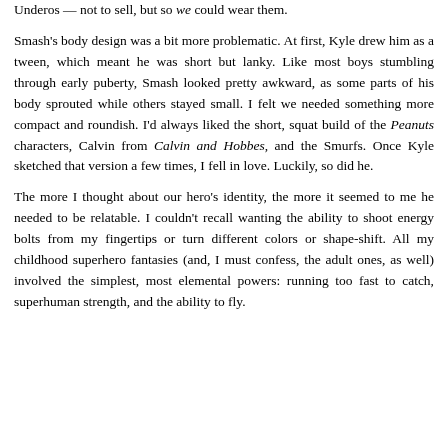Underos — not to sell, but so we could wear them.
Smash's body design was a bit more problematic. At first, Kyle drew him as a tween, which meant he was short but lanky. Like most boys stumbling through early puberty, Smash looked pretty awkward, as some parts of his body sprouted while others stayed small. I felt we needed something more compact and roundish. I'd always liked the short, squat build of the Peanuts characters, Calvin from Calvin and Hobbes, and the Smurfs. Once Kyle sketched that version a few times, I fell in love. Luckily, so did he.
The more I thought about our hero's identity, the more it seemed to me he needed to be relatable. I couldn't recall wanting the ability to shoot energy bolts from my fingertips or turn different colors or shape-shift. All my childhood superhero fantasies (and, I must confess, the adult ones, as well) involved the simplest, most elemental powers: running too fast to catch, superhuman strength, and the ability to fly.